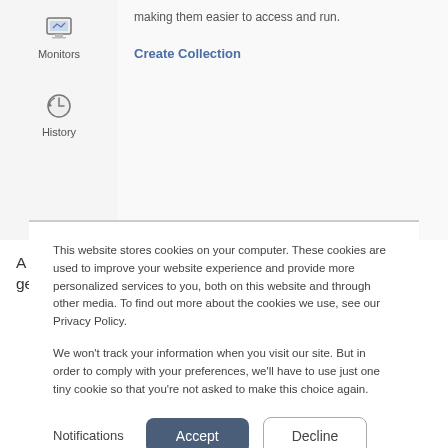[Figure (screenshot): Screenshot of a web UI sidebar showing 'Monitors' and 'History' navigation icons, and a main content panel with a 'Create Collection' link in blue.]
A file browsing window appears. Select the previously generated IriusRisk API JSON file. If everything went
This website stores cookies on your computer. These cookies are used to improve your website experience and provide more personalized services to you, both on this website and through other media. To find out more about the cookies we use, see our Privacy Policy.
We won't track your information when you visit our site. But in order to comply with your preferences, we'll have to use just one tiny cookie so that you're not asked to make this choice again.
Notifications   Accept   Decline